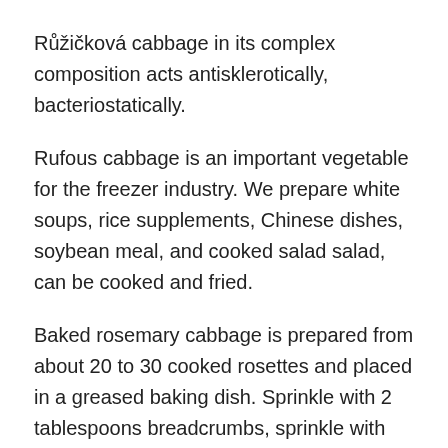Růžičková cabbage in its complex composition acts antisklerotically, bacteriostatically.
Rufous cabbage is an important vegetable for the freezer industry. We prepare white soups, rice supplements, Chinese dishes, soybean meal, and cooked salad salad, can be cooked and fried.
Baked rosemary cabbage is prepared from about 20 to 30 cooked rosettes and placed in a greased baking dish. Sprinkle with 2 tablespoons breadcrumbs, sprinkle with sour cream and sprinkle with grated cheese. We alternate layers, eventually pour2 dlmilk, water with garlic, taste salt, a pinch of ground nutmeg and bake in oven. We can add even100 g soybean tempeh cheese or